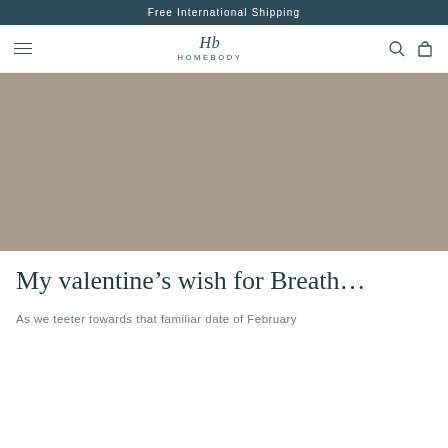Free International Shipping
[Figure (logo): Homebody brand logo with hamburger menu, Hb monogram, search icon, and bag icon navigation bar]
[Figure (photo): Large hero image placeholder in taupe/grey-brown color]
My valentine’s wish for Breath…
As we teeter towards that familiar date of February